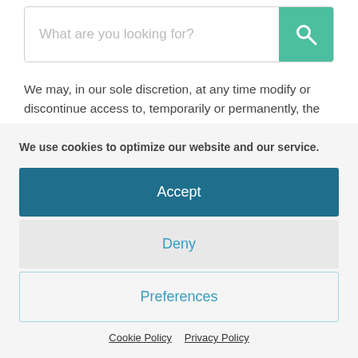[Figure (screenshot): Search bar with placeholder text 'What are you looking for?' and a teal search button with magnifying glass icon on the right]
We may, in our sole discretion, at any time modify or discontinue access to, temporarily or permanently, the website or any Service thereon. You agree that we will not be liable to you or any third party for any such modification, suspension or discontinuance of your access to, or use of, the website or any content that you may
We use cookies to optimize our website and our service.
Accept
Deny
Preferences
Cookie Policy  Privacy Policy